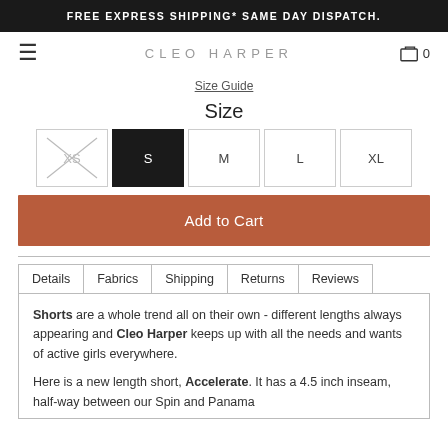FREE EXPRESS SHIPPING* SAME DAY DISPATCH.
CLEO HARPER
Size Guide
Size
Size options: XS (crossed out/unavailable), S (selected), M, L, XL
Add to Cart
Tabs: Details | Fabrics | Shipping | Returns | Reviews
Shorts are a whole trend all on their own - different lengths always appearing and Cleo Harper keeps up with all the needs and wants of active girls everywhere.

Here is a new length short, Accelerate. It has a 4.5 inch inseam, half-way between our Spin and Panama